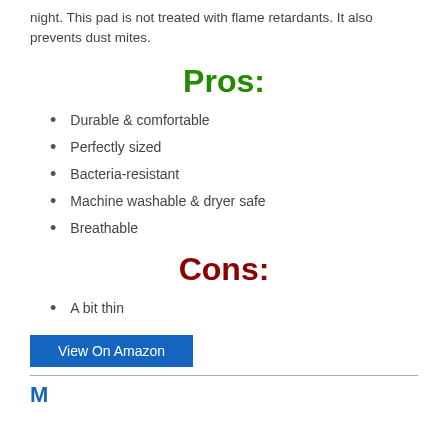night. This pad is not treated with flame retardants. It also prevents dust mites.
Pros:
Durable & comfortable
Perfectly sized
Bacteria-resistant
Machine washable & dryer safe
Breathable
Cons:
A bit thin
View On Amazon